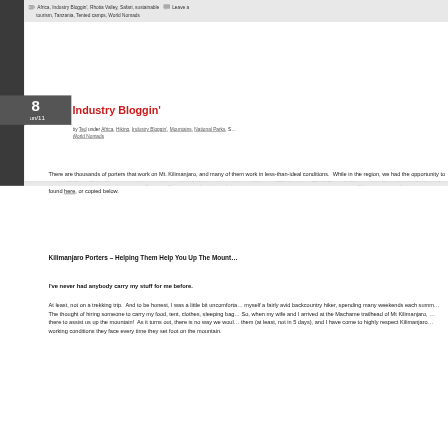Africa, Industry Bloggin', Rhotia Valley, Safari, sustainable tourism, Tanzania, Tented camps, World Nomads   Leave a
Industry Bloggin'
by Ted under Africa, Hiking, Industry Bloggin', Mountains, National Parks, S… World Nomads
There are thousands of porters that work on Mt. Kilimanjaro, and many of them work in less-than-ideal conditions.  While in the region, we had the opportunity to meet with Karen Valenti, a woman doing amazing work to help improve porter conditions on Kili.  I wrote a World Nomads blog post on the subject, which can be found here, or copied below.
Kilimanjaro Porters – Helping Them Help You Up The Mount…
I've never had anybody carry my stuff for me before.
At least, not on a trekking trip.  And to be honest, I was a little bit uncomforta… myself a fairly avid backcountry hiker, spending many weekends each summ… The thought of hiring someone to carry my food, tent, clothes, sleeping bag… So, when my wife and I arrived at the Machame trailhead of Mt Kilimanjaro, … there to assist us up the mountain!  As it turns out, there is no way we woul… them (at least, not in 5 days), and I have come to highly respect Kilimanjaro… working conditions they face every time they set foot on the mountain.